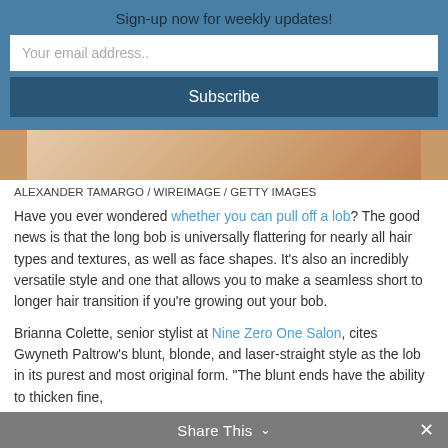Sign-up now for weekly updates!
[Figure (photo): Cropped photo of a person, skin visible, likely hair/shoulder area]
ALEXANDER TAMARGO / WIREIMAGE / GETTY IMAGES
Have you ever wondered whether you can pull off a lob? The good news is that the long bob is universally flattering for nearly all hair types and textures, as well as face shapes. It’s also an incredibly versatile style and one that allows you to make a seamless short to longer hair transition if you’re growing out your bob.
Brianna Colette, senior stylist at Nine Zero One Salon, cites Gwyneth Paltrow’s blunt, blonde, and laser-straight style as the lob in its purest and most original form. “The blunt ends have the ability to thicken fine,